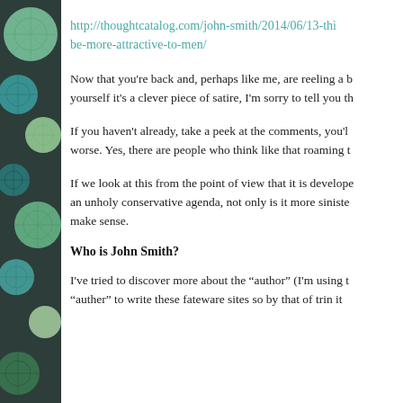[Figure (illustration): Decorative sidebar with dark teal/brown background and circular botanical/dandelion patterns in green, teal, and dark tones]
http://thoughtcatalog.com/john-smith/2014/06/13-thi be-more-attractive-to-men/
Now that you're back and, perhaps like me, are reeling a b yourself it's a clever piece of satire, I'm sorry to tell you th
If you haven't already, take a peek at the comments, you'l worse. Yes, there are people who think like that roaming t
If we look at this from the point of view that it is develope an unholy conservative agenda, not only is it more siniste make sense.
Who is John Smith?
I've tried to discover more about the “author” (I'm using t “auther” to write these fateware sites so by that of trin it